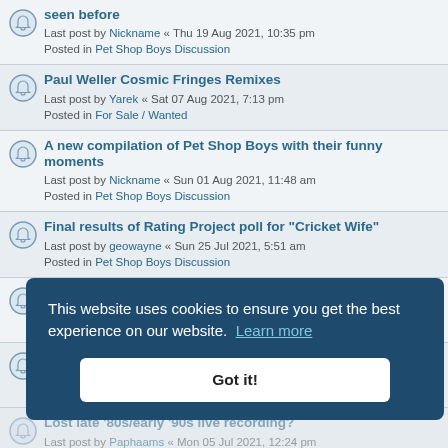seen before
Last post by Nickname « Thu 19 Aug 2021, 10:35 pm
Posted in Pet Shop Boys Discussion
Paul Weller Cosmic Fringes Remixes
Last post by Yarek « Sat 07 Aug 2021, 7:13 pm
Posted in For Sale / Wanted
A new compilation of Pet Shop Boys with their funny moments
Last post by Nickname « Sun 01 Aug 2021, 11:48 am
Posted in Pet Shop Boys Discussion
Final results of Rating Project poll for "Cricket Wife"
Last post by geowayne « Sun 25 Jul 2021, 5:51 am
Posted in Pet Shop Boys Discussion
Poll ends soon on rating "Cricket Wife"
Last post by geowayne « Fri 23 Jul 2021, 1:28 pm
Posted in Pet Shop Boys Discussion
Bilbao and Brazil
Last post by CompleteWeirdo « Sat 10 Jul 2021, 10:58 am
Posted in Pet Shop Boys Discussion
Lost late '80s/early '90s live recording?
Last post by Paphaams « Mon 05 Jul 2021, 12:24 pm
Posted in Pet Shop Boys...
Long Players Book
Last post by ...
*** Look Before Whereupon It Is « Japan VHS***
Last post by calmyboys « Wed 09 Jun 2021, 10:53 am
Posted in For Sale / Wanted
This website uses cookies to ensure you get the best experience on our website. Learn more
Got it!